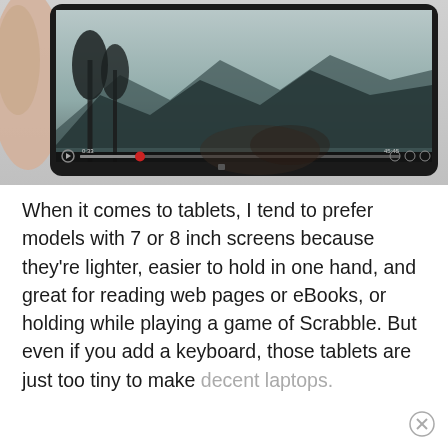[Figure (photo): A hand holding a tablet device showing a video player interface with a scenic nature scene (trees, mountains, water) on screen. The video player shows a progress bar with a red indicator at 0:33, and playback controls at the bottom.]
When it comes to tablets, I tend to prefer models with 7 or 8 inch screens because they're lighter, easier to hold in one hand, and great for reading web pages or eBooks, or holding while playing a game of Scrabble. But even if you add a keyboard, those tablets are just too tiny to make decent laptops.